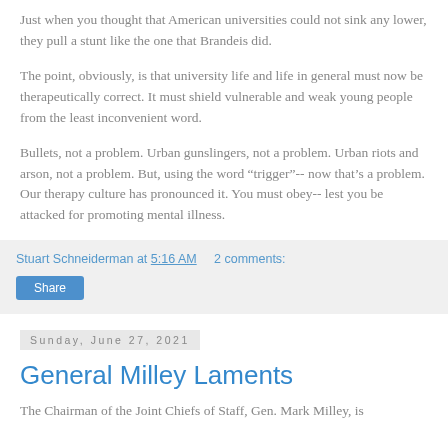Just when you thought that American universities could not sink any lower, they pull a stunt like the one that Brandeis did.
The point, obviously, is that university life and life in general must now be therapeutically correct. It must shield vulnerable and weak young people from the least inconvenient word.
Bullets, not a problem. Urban gunslingers, not a problem. Urban riots and arson, not a problem. But, using the word “trigger”-- now that’s a problem. Our therapy culture has pronounced it. You must obey-- lest you be attacked for promoting mental illness.
Stuart Schneiderman at 5:16 AM     2 comments:
Share
Sunday, June 27, 2021
General Milley Laments
The Chairman of the Joint Chiefs of Staff, Gen. Mark Milley, is